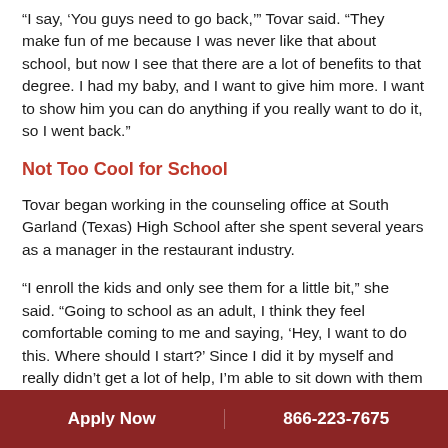“I say, ‘You guys need to go back,’” Tovar said. “They make fun of me because I was never like that about school, but now I see that there are a lot of benefits to that degree. I had my baby, and I want to give him more. I want to show him you can do anything if you really want to do it, so I went back.”
Not Too Cool for School
Tovar began working in the counseling office at South Garland (Texas) High School after she spent several years as a manager in the restaurant industry.
“I enroll the kids and only see them for a little bit,” she said. “Going to school as an adult, I think they feel comfortable coming to me and saying, ‘Hey, I want to do this. Where should I start?’ Since I did it by myself and really didn’t get a lot of help, I’m able to sit down with them
Apply Now | 866-223-7675